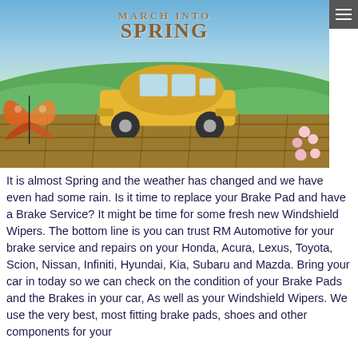[Figure (illustration): A spring-themed promotional illustration showing a yellow vintage Fiat 500 car parked on a wooden dock/deck with green hills and blue sky background, a monarch butterfly on the left, pink cherry blossoms on the right, and the text 'MARCH INTO SPRING' in wooden/rustic lettering at the top center. A hamburger menu icon appears in the upper right corner.]
It is almost Spring and the weather has changed and we have even had some rain. Is it time to replace your Brake Pad and have a Brake Service? It might be time for some fresh new Windshield Wipers. The bottom line is you can trust RM Automotive for your brake service and repairs on your Honda, Acura, Lexus, Toyota, Scion, Nissan, Infiniti, Hyundai, Kia, Subaru and Mazda. Bring your car in today so we can check on the condition of your Brake Pads and the Brakes in your car, As well as your Windshield Wipers. We use the very best, most fitting brake pads, shoes and other components for your